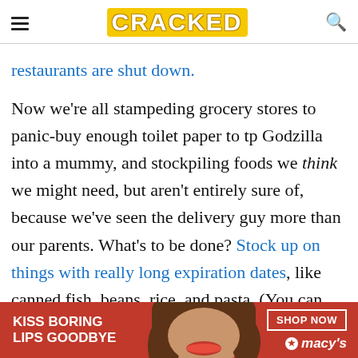CRACKED
restaurants are shut down.
Now we're all stampeding grocery stores to panic-buy enough toilet paper to tp Godzilla into a mummy, and stockpiling foods we think we might need, but aren't entirely sure of, because we've seen the delivery guy more than our parents. What's to be done? Stock up on things with really long expiration dates, like canned fish, beans, rice, and pasta. (You can still enjoy fruits, vegetables, and bread just remember they won't last
[Figure (advertisement): Macy's advertisement banner: 'KISS BORING LIPS GOODBYE' with SHOP NOW button and Macy's logo with star]